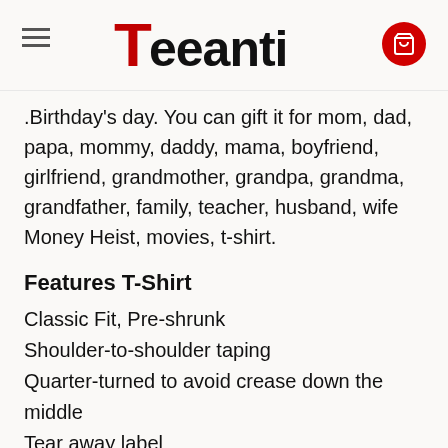Teeanti
.Birthday's day. You can gift it for mom, dad, papa, mommy, daddy, mama, boyfriend, girlfriend, grandmother, grandpa, grandma, grandfather, family, teacher, husband, wife Money Heist, movies, t-shirt.
Features T-Shirt
Classic Fit, Pre-shrunk
Shoulder-to-shoulder taping
Quarter-turned to avoid crease down the middle
Tear away label
Features Hoodie
Double lined hood for added warmth with matching drawstring